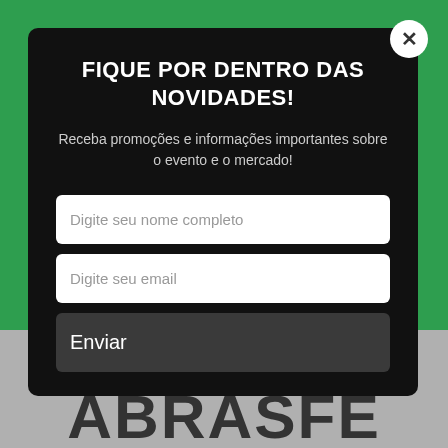[Figure (screenshot): Green website background with gray cookie consent bar at bottom showing 'Aceitar' button, and ABRASFE logo text partially visible]
FIQUE POR DENTRO DAS NOVIDADES!
Receba promoções e informações importantes sobre o evento e o mercado!
Digite seu nome completo
Digite seu email
Enviar
Aceitar